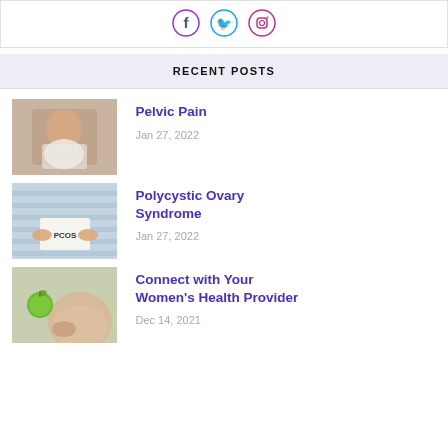[Figure (illustration): Social media icons: Facebook (blue circle), Twitter (light blue circle), Instagram (gradient circle) at top of page]
RECENT POSTS
[Figure (photo): Woman sitting on bed holding her abdomen in pain]
Pelvic Pain
Jan 27, 2022
[Figure (photo): Person in striped outfit holding a paper that says PCOS]
Polycystic Ovary Syndrome
Jan 27, 2022
[Figure (photo): Pregnant woman holding a green apple]
Connect with Your Women's Health Provider
Dec 14, 2021